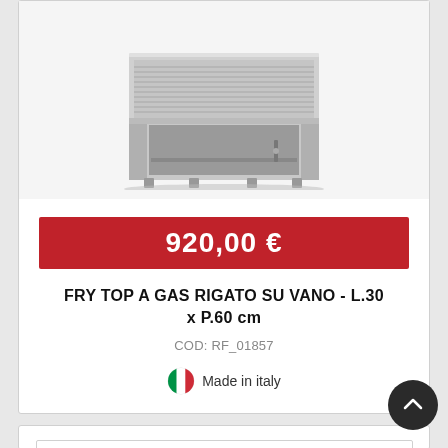[Figure (photo): Stainless steel gas fry top appliance on a base unit with open compartment, viewed at an angle. The appliance has a ridged cooking surface and metal legs.]
920,00 €
FRY TOP A GAS RIGATO SU VANO - L.30 x P.60 cm
COD: RF_01857
Made in italy